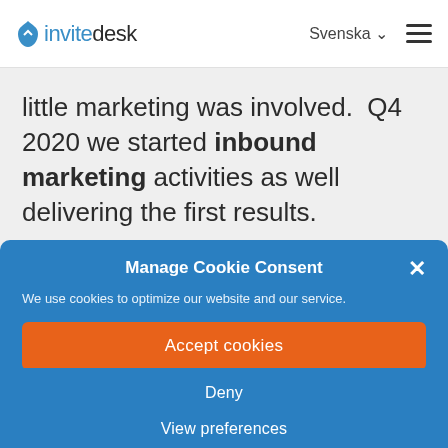invitedesk — Svenska ☰
little marketing was involved. Q4 2020 we started inbound marketing activities as well delivering the first results.
Manage Cookie Consent
We use cookies to optimize our website and our service.
Accept cookies
Deny
View preferences